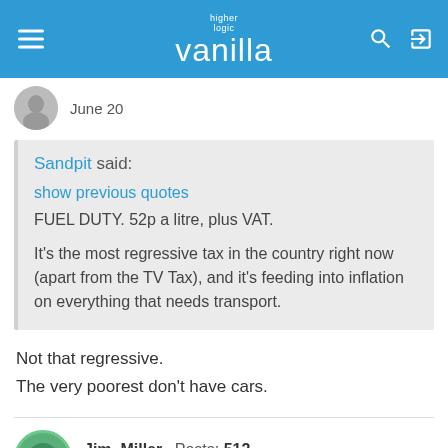higher logic vanilla
June 20
Sandpit said:
show previous quotes
FUEL DUTY. 52p a litre, plus VAT.

It's the most regressive tax in the country right now (apart from the TV Tax), and it's feeding into inflation on everything that needs transport.
Not that regressive.
The very poorest don't have cars.
Jim_Miller  Posts: 512
June 20